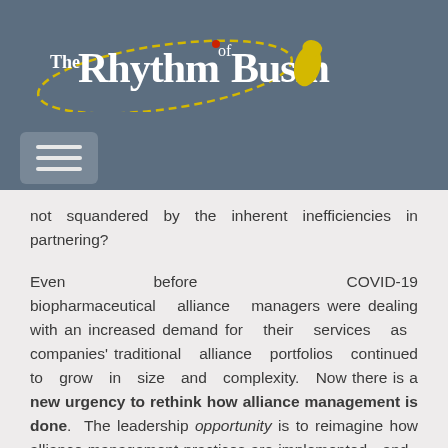[Figure (logo): The Rhythm of Business logo with stylized text in white and yellow on a dark blue-grey background, with a shoe print icon and dashed oval path]
not squandered by the inherent inefficiencies in partnering?
Even before COVID-19 biopharmaceutical alliance managers were dealing with an increased demand for their services as companies' traditional alliance portfolios continued to grow in size and complexity. Now there is a new urgency to rethink how alliance management is done. The leadership opportunity is to reimagine how alliance management practices are implemented and the capability is organized and resourced to meet